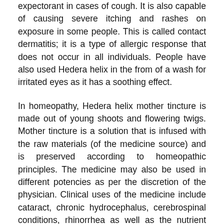expectorant in cases of cough. It is also capable of causing severe itching and rashes on exposure in some people. This is called contact dermatitis; it is a type of allergic response that does not occur in all individuals. People have also used Hedera helix in the from of a wash for irritated eyes as it has a soothing effect.
In homeopathy, Hedera helix mother tincture is made out of young shoots and flowering twigs. Mother tincture is a solution that is infused with the raw materials (of the medicine source) and is preserved according to homeopathic principles. The medicine may also be used in different potencies as per the discretion of the physician. Clinical uses of the medicine include cataract, chronic hydrocephalus, cerebrospinal conditions, rhinorrhea as well as the nutrient deficiency called rickets. Dr Cooper has recounted a case of a child with rickets who was cured by the employment of Hedera helix. Babies who present with large heads due to a long standing hydrocephalus react favorably to this medicine. In Boericke's materia medica Hedera helix is mentioned